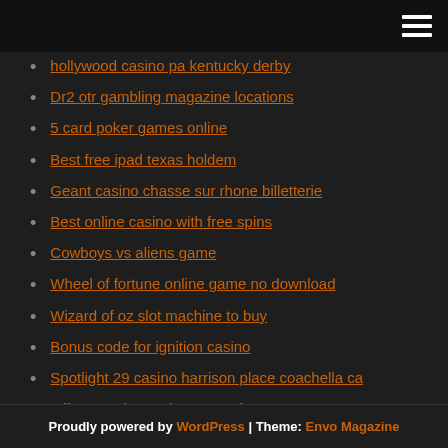Menu
hollywood casino pa kentucky derby
Dr2 otr gambling magazine locations
5 card poker games online
Best free ipad texas holdem
Geant casino chasse sur rhone billetterie
Best online casino with free spins
Cowboys vs aliens game
Wheel of fortune online game no download
Wizard of oz slot machine to buy
Bonus code for ignition casino
Spotlight 29 casino harrison place coachella ca
Offerte casino park nova gorica
Proudly powered by WordPress | Theme: Envo Magazine